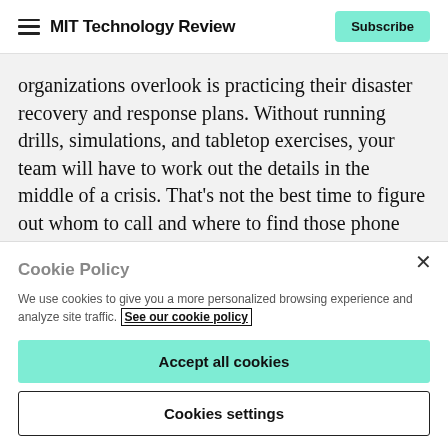MIT Technology Review
organizations overlook is practicing their disaster recovery and response plans. Without running drills, simulations, and tabletop exercises, your team will have to work out the details in the middle of a crisis. That’s not the best time to figure out whom to call and where to find those phone numbers.
According to the GDPI survey, 67% of IT leaders are not
Cookie Policy
We use cookies to give you a more personalized browsing experience and analyze site traffic. See our cookie policy
Accept all cookies
Cookies settings